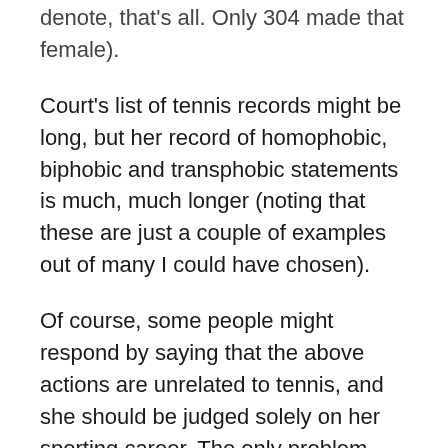denote, that's all. Only 304 made that female).
Court's list of tennis records might be long, but her record of homophobic, biphobic and transphobic statements is much, much longer (noting that these are just a couple of examples out of many I could have chosen).
Of course, some people might respond by saying that the above actions are unrelated to tennis, and she should be judged solely on her sporting career. The only problem with this defence is that she has an equally lengthy history of anti-LGBT prejudice in relation to tennis.
As far back as 1990, Court criticised out lesbian champion Martina Navratilova (“a great player but I’d like someone at the top who the young players can look up to. It’s very sad for children to be exposed to homosexuality. Martina is a nice person. Her life has just gone astray”) and famously